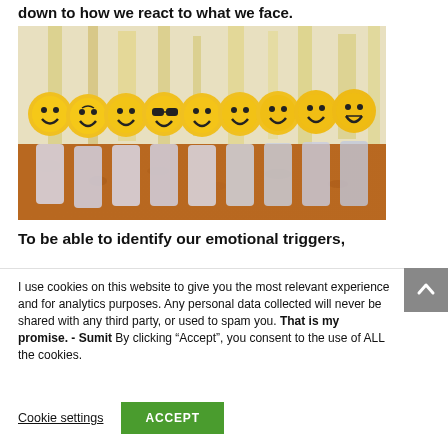down to how we react to what we face.
[Figure (photo): A row of USB drives with smiley face emoji toppers arranged on a cork/wooden surface. Various emoji expressions visible including happy, winking, cool/sunglasses, and grinning faces.]
To be able to identify our emotional triggers,
I use cookies on this website to give you the most relevant experience and for analytics purposes. Any personal data collected will never be shared with any third party, or used to spam you. That is my promise. - Sumit By clicking “Accept”, you consent to the use of ALL the cookies.
Cookie settings   ACCEPT